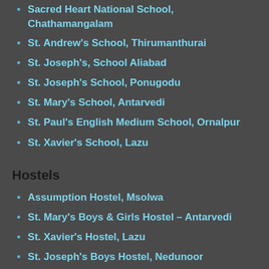Sacred Heart National School, Chathamangalam
St. Andrew's School, Thirumanthurai
St. Joseph's, School Aliabad
St. Joseph's School, Ponugodu
St. Mary's School, Antarvedi
St. Paul's English Medium School, Ornalpur
St. Xavier's School, Lazu
Hostels
Assumption Hostel, Msolwa
St. Mary's Boys & Girls Hostel – Antarvedi
St. Xavier's Hostel, Lazu
St. Joseph's Boys Hostel, Nedunoor
Tharangani Matha Hostel- Manginapudi
Seminaries